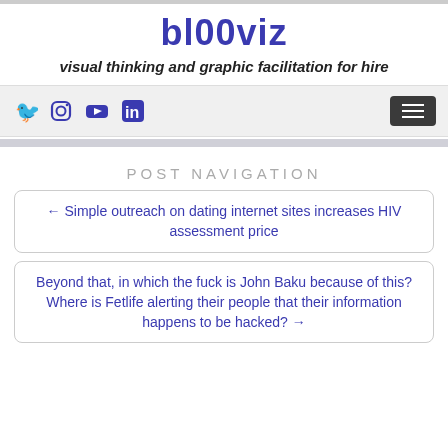bl00viz
visual thinking and graphic facilitation for hire
Post navigation
← Simple outreach on dating internet sites increases HIV assessment price
Beyond that, in which the fuck is John Baku because of this? Where is Fetlife alerting their people that their information happens to be hacked? →